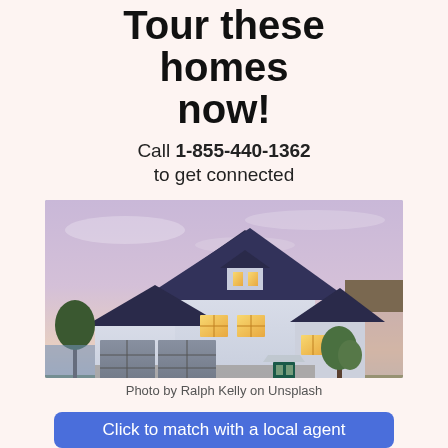Tour these homes now!
Call 1-855-440-1362 to get connected
[Figure (photo): Exterior photo of a large two-story suburban house with dark blue roof, white siding, two-car garage, lit windows, and a tree in front, photographed at dusk with a purple-pink sky]
Photo by Ralph Kelly on Unsplash
Click to match with a local agent